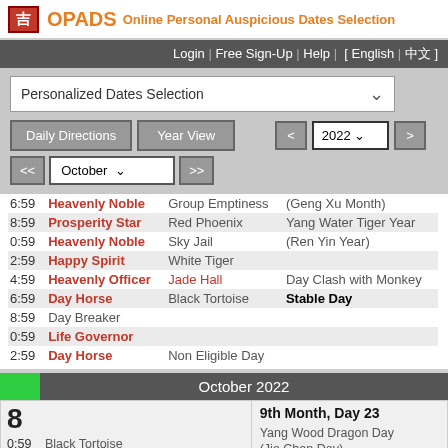吉 OPADS Online Personal Auspicious Dates Selection
Login | Free Sign-Up | Help | [ English | 中文 ]
Personalized Dates Selection
Daily Directions | Year View | < | 2022 | > | << | October | >>
| Time | Name | Secondary | Notes |
| --- | --- | --- | --- |
| 6:59 | Heavenly Noble | Group Emptiness | (Geng Xu Month) |
| 8:59 | Prosperity Star | Red Phoenix | Yang Water Tiger Year |
| 0:59 | Heavenly Noble | Sky Jail | (Ren Yin Year) |
| 2:59 | Happy Spirit | White Tiger |  |
| 4:59 | Heavenly Officer | Jade Hall | Day Clash with Monkey |
| 6:59 | Day Horse | Black Tortoise | Stable Day |
| 8:59 | Day Breaker |  |  |
| 0:59 | Life Governor |  |  |
| 2:59 | Day Horse | Non Eligible Day |  |
October 2022
8
9th Month, Day 23
| Time | Name | Secondary | Notes |
| --- | --- | --- | --- |
| 0:59 | Black Tortoise |  | Yang Wood Dragon Day |
| 2:59 | Heavenly Noble | Day Breaker | (Jia Chen Day) |
| 4:59 | Day Horse | Red Phoenix | Yang Metal Dog Month |
| 6:59 | Non Eligible Day | Road Emptiness | (Geng Xu Month) |
| 8:59 | Day Establish | Sky Jail | Yang Water Tiger Year |